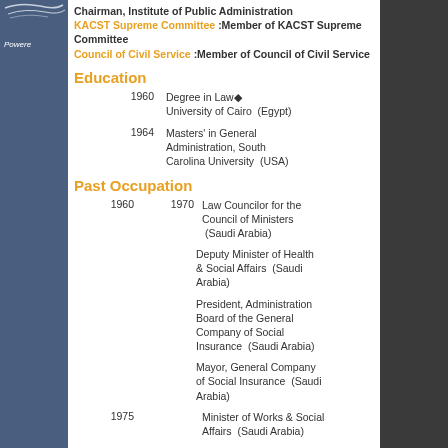Chairman, Institute of Public Administration
KACT Supreme Committee :Member of KACST Supreme Committee
Council of Civil Service :Member of Council of Civil Service
Education
1960 — Degree in Law, University of Cairo (Egypt)
1964 — Masters' in General Administration, South Carolina University (USA)
Past Occupation
1960–1970 — Law Councilor for the Council of Ministers (Saudi Arabia)
Deputy Minister of Health & Social Affairs (Saudi Arabia)
President, Administration Board of the General Company of Social Insurance (Saudi Arabia)
Mayor, General Company of Social Insurance (Saudi Arabia)
1975 — Minister of Works & Social Affairs (Saudi Arabia)
Current Occupation
Member of Military Service